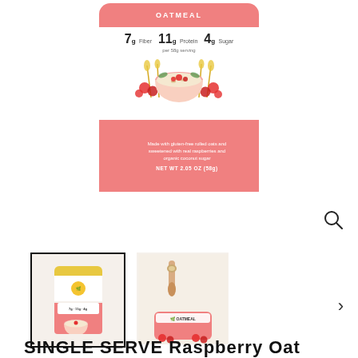[Figure (photo): Product photo of a single-serve oatmeal packet with salmon/coral color, showing 7g Fiber, 11g Protein, 4g Sugar per 58g serving, with bowl of oatmeal and raspberries imagery. NET WT 2.05 OZ (58g).]
[Figure (photo): Thumbnail 1 (selected, outlined): Mini product packet photo of the same oatmeal pouch.]
[Figure (photo): Thumbnail 2: Hand holding a wooden spoon over an open oatmeal cup with raspberries.]
SINGLE SERVE Raspberry Oat